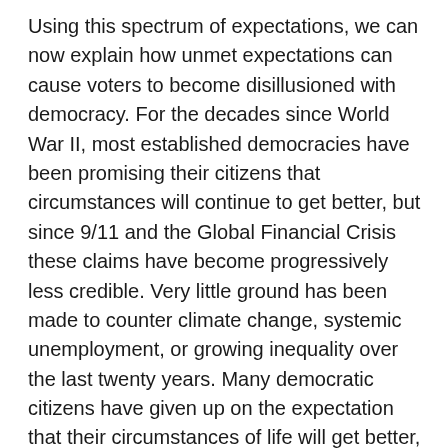Using this spectrum of expectations, we can now explain how unmet expectations can cause voters to become disillusioned with democracy. For the decades since World War II, most established democracies have been promising their citizens that circumstances will continue to get better, but since 9/11 and the Global Financial Crisis these claims have become progressively less credible. Very little ground has been made to counter climate change, systemic unemployment, or growing inequality over the last twenty years. Many democratic citizens have given up on the expectation that their circumstances of life will get better, and are now convinced that their circumstances are becoming worse. If democratic citizens believe that the democratic system has not, or will not, meet their expectations, then they have little reason to support a system that has not lived up to its promise, or its promises.